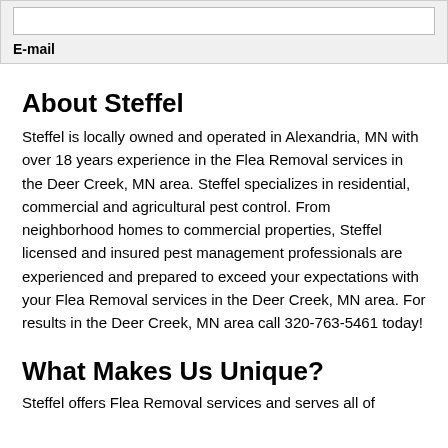E-mail
About Steffel
Steffel is locally owned and operated in Alexandria, MN with over 18 years experience in the Flea Removal services in the Deer Creek, MN area. Steffel specializes in residential, commercial and agricultural pest control. From neighborhood homes to commercial properties, Steffel licensed and insured pest management professionals are experienced and prepared to exceed your expectations with your Flea Removal services in the Deer Creek, MN area. For results in the Deer Creek, MN area call 320-763-5461 today!
What Makes Us Unique?
Steffel offers Flea Removal services and serves all of